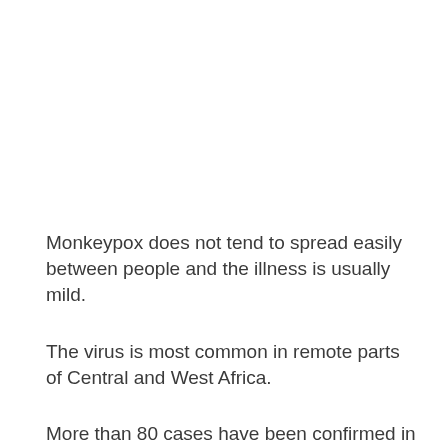Monkeypox does not tend to spread easily between people and the illness is usually mild.
The virus is most common in remote parts of Central and West Africa.
More than 80 cases have been confirmed in the recent outbreak in Europe, the US, Canada and Australia.